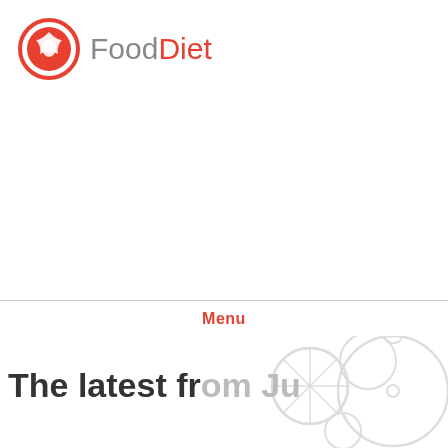[Figure (logo): FoodDiet logo: red circle with white star/flower icon, text 'Food' in gray and 'Diet' in red]
Menu
The latest from Ju